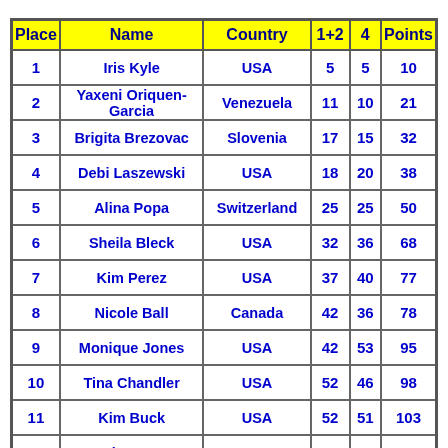| Place | Name | Country | 1+2 | 4 | Points |
| --- | --- | --- | --- | --- | --- |
| 1 | Iris Kyle | USA | 5 | 5 | 10 |
| 2 | Yaxeni Oriquen-Garcia | Venezuela | 11 | 10 | 21 |
| 3 | Brigita Brezovac | Slovenia | 17 | 15 | 32 |
| 4 | Debi Laszewski | USA | 18 | 20 | 38 |
| 5 | Alina Popa | Switzerland | 25 | 25 | 50 |
| 6 | Sheila Bleck | USA | 32 | 36 | 68 |
| 7 | Kim Perez | USA | 37 | 40 | 77 |
| 8 | Nicole Ball | Canada | 42 | 36 | 78 |
| 9 | Monique Jones | USA | 42 | 53 | 95 |
| 10 | Tina Chandler | USA | 52 | 46 | 98 |
| 11 | Kim Buck | USA | 52 | 51 | 103 |
| 12 | Heather Foster | USA | 65 | 60 | 125 |
| 13 | ... | Canada | 68 | 68 | 136 |